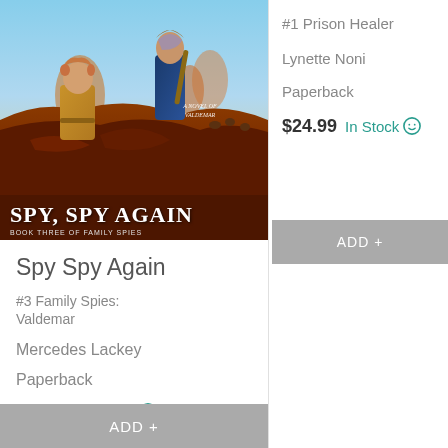[Figure (illustration): Book cover for 'Spy, Spy Again' - A Novel of Valdemar, Book Three of Family Spies. Shows two young men in fantasy medieval clothing against a desert/canyon landscape with riders in background.]
Spy Spy Again
#3 Family Spies: Valdemar
Mercedes Lackey
Paperback
$17.95  In Stock
ADD +
#1 Prison Healer
Lynette Noni
Paperback
$24.99  In Stock
ADD +